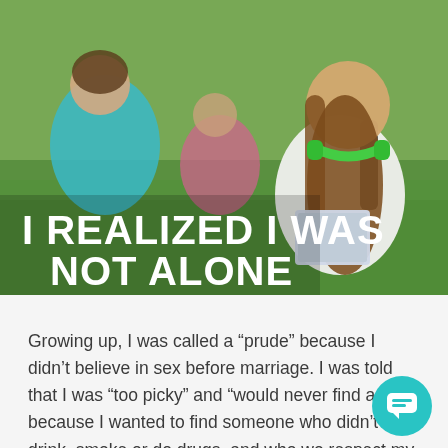[Figure (photo): Students sitting outdoors on grass, studying and talking. A girl with green headphones around her neck is reading a book. Bold white text overlaid reads: I REALIZED I WAS NOT ALONE]
Growing up, I was called a “prude” because I didn’t believe in sex before marriage. I was told that I was “too picky” and “would never find a guy” because I wanted to find someone who didn’t drink, smoke or do drugs, and who wo respect my position about sex. It wasn’t just peers saying these things – even my own